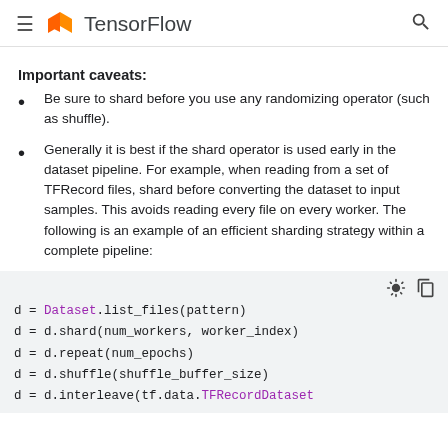TensorFlow
Important caveats:
Be sure to shard before you use any randomizing operator (such as shuffle).
Generally it is best if the shard operator is used early in the dataset pipeline. For example, when reading from a set of TFRecord files, shard before converting the dataset to input samples. This avoids reading every file on every worker. The following is an example of an efficient sharding strategy within a complete pipeline:
[Figure (screenshot): Code block showing Python TensorFlow dataset pipeline: d = Dataset.list_files(pattern), d = d.shard(num_workers, worker_index), d = d.repeat(num_epochs), d = d.shuffle(shuffle_buffer_size), d = d.interleave(tf.data.TFRecordDataset]